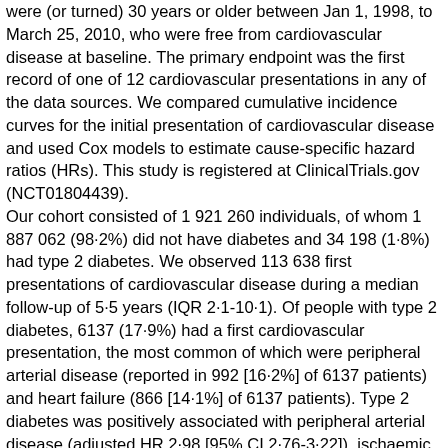were (or turned) 30 years or older between Jan 1, 1998, to March 25, 2010, who were free from cardiovascular disease at baseline. The primary endpoint was the first record of one of 12 cardiovascular presentations in any of the data sources. We compared cumulative incidence curves for the initial presentation of cardiovascular disease and used Cox models to estimate cause-specific hazard ratios (HRs). This study is registered at ClinicalTrials.gov (NCT01804439). Our cohort consisted of 1 921 260 individuals, of whom 1 887 062 (98·2%) did not have diabetes and 34 198 (1·8%) had type 2 diabetes. We observed 113 638 first presentations of cardiovascular disease during a median follow-up of 5·5 years (IQR 2·1-10·1). Of people with type 2 diabetes, 6137 (17·9%) had a first cardiovascular presentation, the most common of which were peripheral arterial disease (reported in 992 [16·2%] of 6137 patients) and heart failure (866 [14·1%] of 6137 patients). Type 2 diabetes was positively associated with peripheral arterial disease (adjusted HR 2·98 [95% CI 2·76-3·22]), ischaemic stroke (1·72 [1·52-1·95]), stable angina (1·62 [1·49-1·77]), heart failure (1·56 [1·45-1·69]), and non-fatal myocardial infarction (1·54 [1·42-1·67]), but was inversely